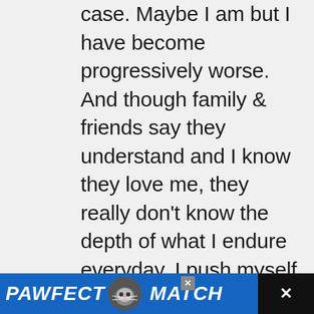case. Maybe I am but I have become progressively worse. And though family & friends say they understand and I know they love me, they really don't know the depth of what I endure everyday. I push myself everyday to get up & going this is my life and I'm trying to make the best of it. My hope is that someday these brilliant doctors will figure it out, they haven't so far.
[Figure (screenshot): Advertisement banner for 'PAWFECT MATCH' showing a cat graphic, blue background with white bold italic text, close button (X), and a dark right panel with X/dismiss icon]